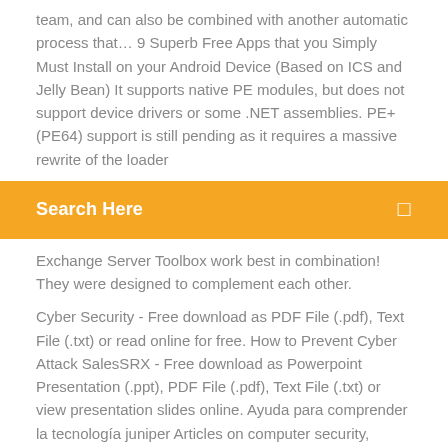team, and can also be combined with another automatic process that… 9 Superb Free Apps that you Simply Must Install on your Android Device (Based on ICS and Jelly Bean) It supports native PE modules, but does not support device drivers or some .NET assemblies. PE+ (PE64) support is still pending as it requires a massive rewrite of the loader
[Figure (other): Search bar with orange background, text 'Search Here' on left and a small icon on the right]
Exchange Server Toolbox work best in combination! They were designed to complement each other.
Cyber Security - Free download as PDF File (.pdf), Text File (.txt) or read online for free. How to Prevent Cyber Attack SalesSRX - Free download as Powerpoint Presentation (.ppt), PDF File (.pdf), Text File (.txt) or view presentation slides online. Ayuda para comprender la tecnología juniper Articles on computer security, antivirus testing and comparisons, interviews, and practical guides for business user.Workflow Templates Library -